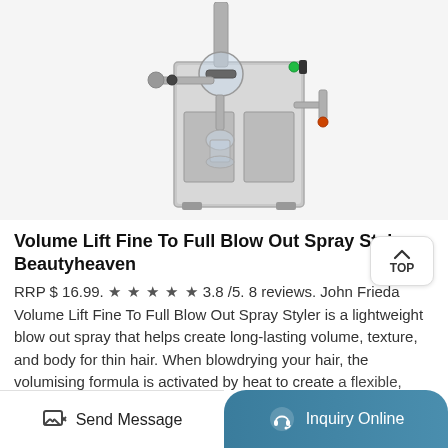[Figure (photo): A stainless steel laboratory or industrial spray dryer machine with glass components, tubes, and fittings, shown on a white background.]
Volume Lift Fine To Full Blow Out Spray Styler – Beautyheaven
RRP $ 16.99. ★ ★ ★ ★ ★ 3.8 /5. 8 reviews. John Frieda Volume Lift Fine To Full Blow Out Spray Styler is a lightweight blow out spray that helps create long-lasting volume, texture, and body for thin hair. When blowdrying your hair, the volumising formula is activated by heat to create a flexible, lightweight support network
Send Message
Inquiry Online